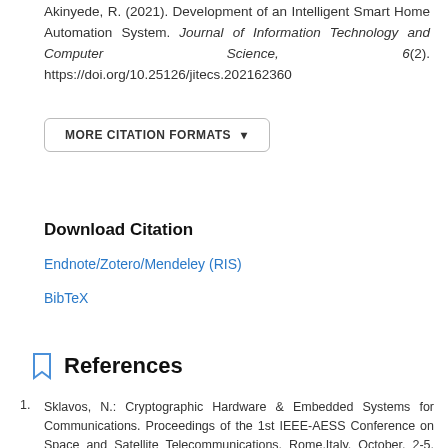Akinyede, R. (2021). Development of an Intelligent Smart Home Automation System. Journal of Information Technology and Computer Science, 6(2). https://doi.org/10.25126/jitecs.202162360
MORE CITATION FORMATS ▾
Download Citation
Endnote/Zotero/Mendeley (RIS)
BibTeX
References
Sklavos, N.: Cryptographic Hardware & Embedded Systems for Communications. Proceedings of the 1st IEEE-AESS Conference on Space and Satellite Telecommunications, Rome,Italy, October, 2-5. (2012)
Buch, N., Orwell, J., Velastin,S.A.: 3D Extended Histogram of Oriented Gradients (3DHOG) for Classification of Road Users in